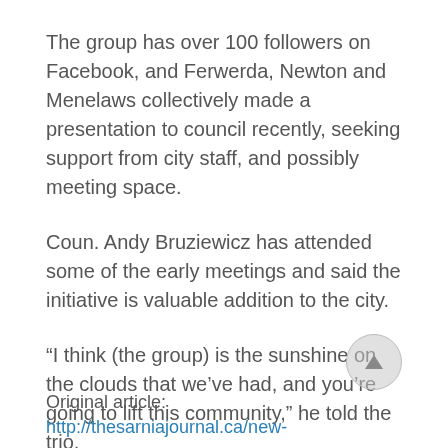The group has over 100 followers on Facebook, and Ferwerda, Newton and Menelaws collectively made a presentation to council recently, seeking support from city staff, and possibly meeting space.
Coun. Andy Bruziewicz has attended some of the early meetings and said the initiative is valuable addition to the city.
“I think (the group) is the sunshine on the clouds that we’ve had, and you’re going to lift this community,” he told the trio.
Original article: http://thesarniajournal.ca/new-